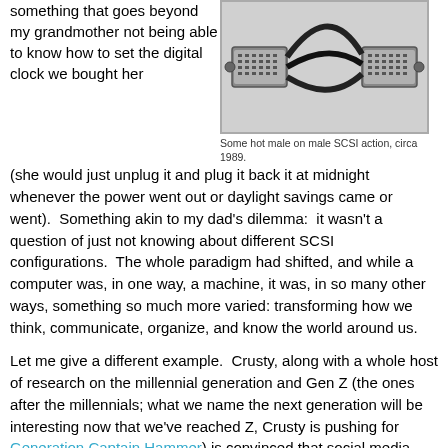something that goes beyond my grandmother not being able to know how to set the digital clock we bought her
[Figure (photo): Male on male SCSI cable connector, circa 1989]
Some hot male on male SCSI action, circa 1989.
(she would just unplug it and plug it back it at midnight whenever the power went out or daylight savings came or went).  Something akin to my dad's dilemma:  it wasn't a question of just not knowing about different SCSI configurations.  The whole paradigm had shifted, and while a computer was, in one way, a machine, it was, in so many other ways, something so much more varied: transforming how we think, communicate, organize, and know the world around us.
Let me give a different example.  Crusty, along with a whole host of research on the millennial generation and Gen Z (the ones after the millennials; what we name the next generation will be interesting now that we've reached Z, Crusty is pushing for Generation Captain Hammer) is convinced that social media has already profoundly transformed key